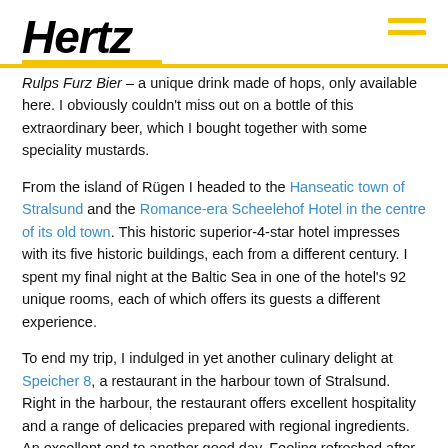Hertz
Rulps Furz Bier – a unique drink made of hops, only available here. I obviously couldn't miss out on a bottle of this extraordinary beer, which I bought together with some speciality mustards.
From the island of Rügen I headed to the Hanseatic town of Stralsund and the Romance-era Scheelehof Hotel in the centre of its old town. This historic superior-4-star hotel impresses with its five historic buildings, each from a different century. I spent my final night at the Baltic Sea in one of the hotel's 92 unique rooms, each of which offers its guests a different experience.
To end my trip, I indulged in yet another culinary delight at Speicher 8, a restaurant in the harbour town of Stralsund. Right in the harbour, the restaurant offers excellent hospitality and a range of delicacies prepared with regional ingredients. An excellent end to another good day. Feeling refreshed after a substantial breakfast, I got back in the powerful Mustang to begin my journey back to the Ruhr.